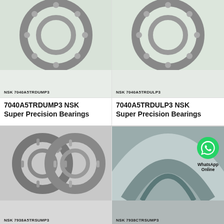[Figure (photo): NSK 7040A5TRDUMP3 Super Precision Bearing photo with label overlay]
7040A5TRDUMP3 NSK Super Precision Bearings
[Figure (photo): NSK 7040A5TRDULP3 Super Precision Bearing photo with label overlay]
7040A5TRDULP3 NSK Super Precision Bearings
[Figure (photo): NSK 7938A5TRSUMP3 Super Precision Bearing photo with label overlay, two cylindrical roller bearings shown]
7938A5TRSUMP3 NSK Super Precision Bearings
[Figure (photo): NSK 7938CTRSUMP3 Super Precision Bearing photo with label overlay, WhatsApp Online logo visible]
7938CTRSUMP3 NSK Super Precision Bearings
All Products
Contact Now